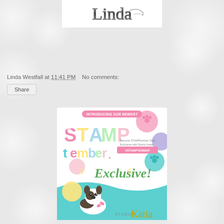[Figure (logo): Stylized cursive script logo in gray/dark tones, appearing to read 'Linda' or similar cursive text on white background]
Linda Westfall at 11:41 PM   No comments:
Share
[Figure (illustration): STAMPtember Exclusive promotional image from Studio Katia. Shows colorful balloon-style letters spelling 'STAMPtember' with 'Exclusive!' in cursive. Features paw print buttons/circles in pink, yellow, teal, blue colors, a cartoon Boston Terrier dog, teal wave design at bottom, and Studio Katia logo. Text reads 'INTRODUCING OUR NEWEST' at top and '#STAMPTEMBER' in pink banner.]